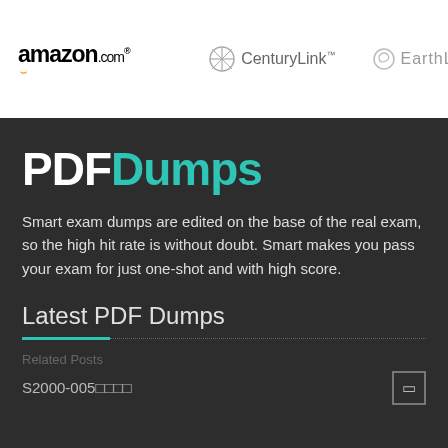[Figure (logo): amazon.com logo]
[Figure (logo): CenturyLink logo]
[Figure (logo): EarthLink logo (partially visible)]
PDFDumps
Smart exam dumps are edited on the base of the real exam, so the high hit rate is without doubt. Smart makes you pass your exam for just one-shot and with high score.
Latest PDF Dumps
Related Posts
S2000-005????